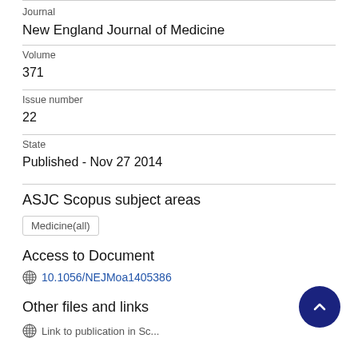Journal
New England Journal of Medicine
Volume
371
Issue number
22
State
Published - Nov 27 2014
ASJC Scopus subject areas
Medicine(all)
Access to Document
10.1056/NEJMoa1405386
Other files and links